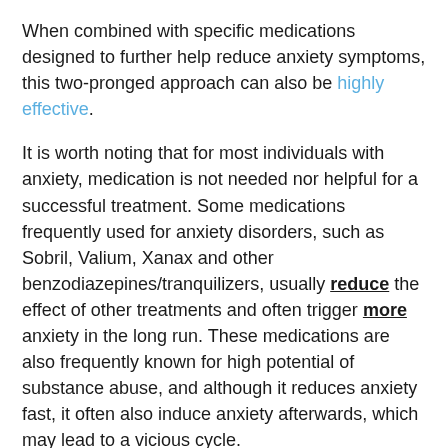When combined with specific medications designed to further help reduce anxiety symptoms, this two-pronged approach can also be highly effective.
It is worth noting that for most individuals with anxiety, medication is not needed nor helpful for a successful treatment. Some medications frequently used for anxiety disorders, such as Sobril, Valium, Xanax and other benzodiazepines/tranquilizers, usually reduce the effect of other treatments and often trigger more anxiety in the long run. These medications are also frequently known for high potential of substance abuse, and although it reduces anxiety fast, it often also induce anxiety afterwards, which may lead to a vicious cycle.
You may be curious about what exactly medication does to help people with anxiety. This section outlines the basics of how antidepressants and other psychopharmaceuticals work.